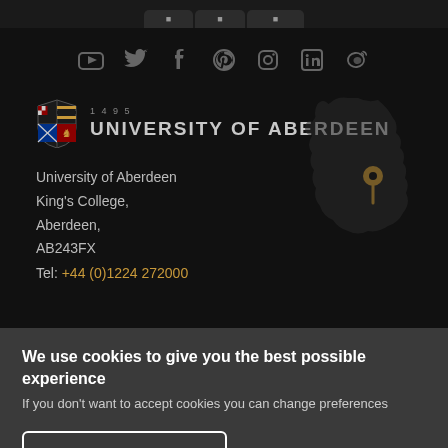[Figure (screenshot): Top navigation bar with rounded tab shapes on dark background]
[Figure (infographic): Social media icons row: YouTube, Twitter, Facebook, Pinterest, Instagram, LinkedIn, Weibo on dark background]
[Figure (logo): University of Aberdeen logo with shield crest (1495) and name text in caps]
University of Aberdeen
King's College,
Aberdeen,
AB243FX
Tel: +44 (0)1224 272000
[Figure (map): Silhouette map of Scotland with a gold location pin marker near Aberdeen]
We use cookies to give you the best possible experience
If you don't want to accept cookies you can change preferences
Accept All Cookies
Settings